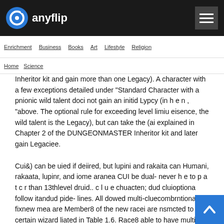anyflip
Enrichment  Business  Books  Art  Lifestyle  Religion
Home  Science
Inheritor kit and gain more than one Legacy). A character with a few exceptions detailed under "Standard Character with a pnionic wild talent doci not gain an initid Lypcy (in h e n , "above. The optional rule for exceeding level limiu eisence, the wild talent is the Legacy), but can take the (ai explained in Chapter 2 of the DUNGEONMASTER Inheritor kit and later gain Legaciee. Cui&) can be uied if deiired, but lupini and rakaita can Humani, rakaata, lupinr, and iome aranea CUI be dual- never h e to p a t c r than 13thlevel druid.. c l u e chuacten; dud cluioptiona follow itandud pide- lines. All dowed multi-cluecombrntiona fixnew mea are Member8 of the new racei are nsmcted to certain wizard liated in Table 1.6. Race8 able to have multi-clau magee can clruiea. The wizard entry on Table 1.3is general; d e d i on ala0 have multi-clan combinations with all other wizard wizard h i e s available to each race are found in Table 1.4